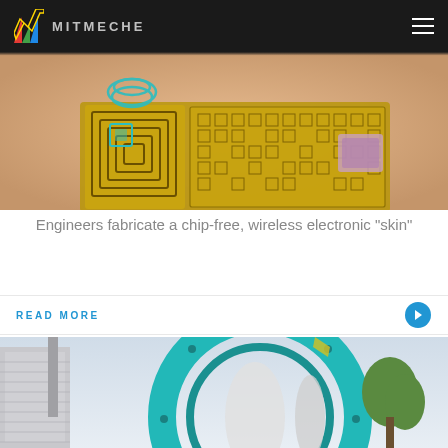MITMECHE
[Figure (photo): Close-up photo of a flexible electronic skin patch with gold lattice circuit patterns on human skin, with a teal wireless coil component visible on top]
Engineers fabricate a chip-free, wireless electronic "skin"
READ MORE
[Figure (photo): Photo of a large teal/turquoise industrial turbine or wind tunnel equipment outside a building, with trees in background]